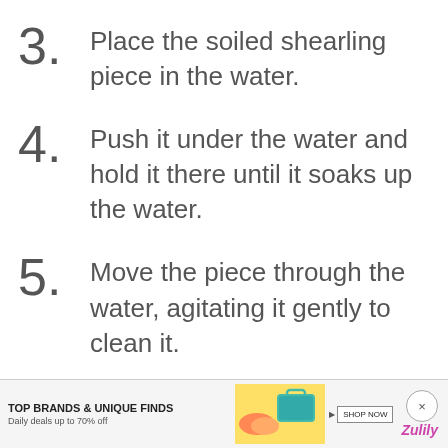3. Place the soiled shearling piece in the water.
4. Push it under the water and hold it there until it soaks up the water.
5. Move the piece through the water, agitating it gently to clean it.
[Figure (screenshot): Advertisement banner: TOP BRANDS & UNIQUE FINDS. Daily deals up to 70% off. Zulily. Shop Now button.]